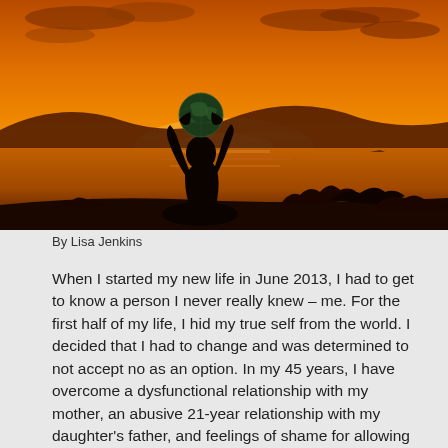[Figure (photo): Silhouette of a person sitting cross-legged and holding up a globe above their head against a dramatic orange sunset sky over water, with dark hills and shrubs in the background.]
By Lisa Jenkins
When I started my new life in June 2013, I had to get to know a person I never really knew – me. For the first half of my life, I hid my true self from the world. I decided that I had to change and was determined to not accept no as an option. In my 45 years, I have overcome a dysfunctional relationship with my mother, an abusive 21-year relationship with my daughter's father, and feelings of shame for allowing Endometriosis to derail my educational and career pursuits.